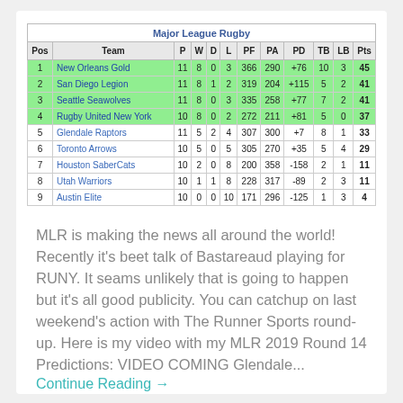| Pos | Team | P | W | D | L | PF | PA | PD | TB | LB | Pts |
| --- | --- | --- | --- | --- | --- | --- | --- | --- | --- | --- | --- |
| 1 | New Orleans Gold | 11 | 8 | 0 | 3 | 366 | 290 | +76 | 10 | 3 | 45 |
| 2 | San Diego Legion | 11 | 8 | 1 | 2 | 319 | 204 | +115 | 5 | 2 | 41 |
| 3 | Seattle Seawolves | 11 | 8 | 0 | 3 | 335 | 258 | +77 | 7 | 2 | 41 |
| 4 | Rugby United New York | 10 | 8 | 0 | 2 | 272 | 211 | +81 | 5 | 0 | 37 |
| 5 | Glendale Raptors | 11 | 5 | 2 | 4 | 307 | 300 | +7 | 8 | 1 | 33 |
| 6 | Toronto Arrows | 10 | 5 | 0 | 5 | 305 | 270 | +35 | 5 | 4 | 29 |
| 7 | Houston SaberCats | 10 | 2 | 0 | 8 | 200 | 358 | -158 | 2 | 1 | 11 |
| 8 | Utah Warriors | 10 | 1 | 1 | 8 | 228 | 317 | -89 | 2 | 3 | 11 |
| 9 | Austin Elite | 10 | 0 | 0 | 10 | 171 | 296 | -125 | 1 | 3 | 4 |
MLR is making the news all around the world! Recently it's beet talk of Bastareaud playing for RUNY. It seams unlikely that is going to happen but it's all good publicity. You can catchup on last weekend's action with The Runner Sports round-up. Here is my video with my MLR 2019 Round 14 Predictions: VIDEO COMING Glendale...
Continue Reading →